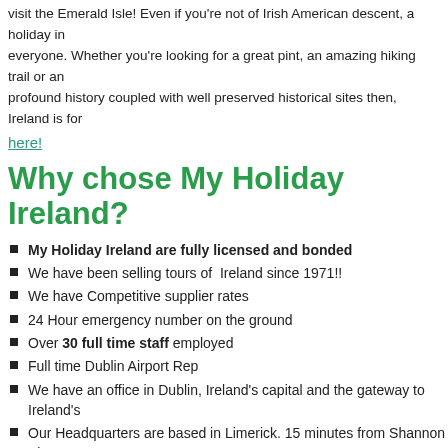visit the Emerald Isle! Even if you're not of Irish American descent, a holiday in everyone. Whether you're looking for a great pint, an amazing hiking trail or an profound history coupled with well preserved historical sites then, Ireland is for
here!
Why chose My Holiday Ireland?
My Holiday Ireland are fully licensed and bonded
We have been selling tours of Ireland since 1971!!
We have Competitive supplier rates
24 Hour emergency number on the ground
Over 30 full time staff employed
Full time Dublin Airport Rep
We have an office in Dublin, Ireland's capital and the gateway to Ireland's
Our Headquarters are based in Limerick. 15 minutes from Shannon Airpo Atlantic Way
We have been Awarded 'Travel Company of the Y'ear 3 Times!!
The Chairman of our company has received the Lifetime Achievement A